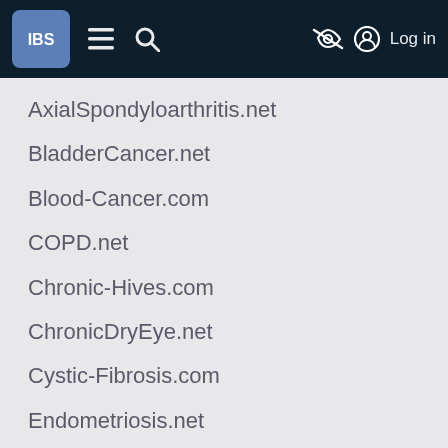IBS — Navigation bar with logo, menu, search, visibility, and Log in
AxialSpondyloarthritis.net
BladderCancer.net
Blood-Cancer.com
COPD.net
Chronic-Hives.com
ChronicDryEye.net
Cystic-Fibrosis.com
Endometriosis.net
EpilepsyDisease.com
H-I-V.net
HSDisease.com
Heart-Failure.net